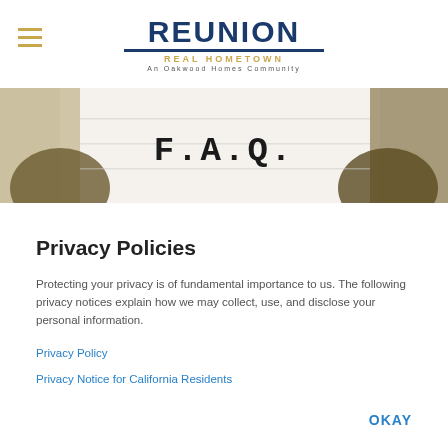[Figure (logo): Reunion Real Hometown – An Oakwood Homes Community logo with hamburger menu icon]
[Figure (photo): Close-up photo of a typewriter printing F.A.Q. on paper]
Privacy Policies
Protecting your privacy is of fundamental importance to us. The following privacy notices explain how we may collect, use, and disclose your personal information.
Privacy Policy
Privacy Notice for California Residents
OKAY